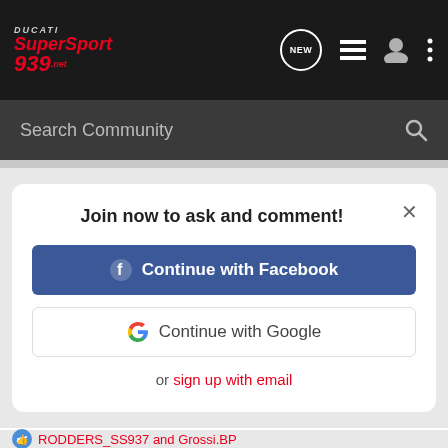[Figure (screenshot): Website navigation bar with Ducati SuperSport 939 logo on left, and icons (NEW chat bubble, list, user, dots) on right, dark background]
[Figure (screenshot): Search bar with 'Search Community' placeholder text and magnifying glass icon, dark gray background]
[Figure (screenshot): Modal dialog box with 'Join now to ask and comment!' title, close X button, Continue with Facebook button (blue), Continue with Google button (white with Google G logo), and 'or sign up with email' link in red]
RODDERS_SS937 and Grossi.BP